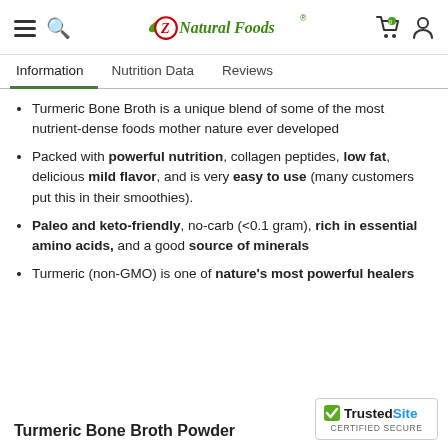Z Natural Foods
Information | Nutrition Data | Reviews
Turmeric Bone Broth is a unique blend of some of the most nutrient-dense foods mother nature ever developed
Packed with powerful nutrition, collagen peptides, low fat, delicious mild flavor, and is very easy to use (many customers put this in their smoothies).
Paleo and keto-friendly, no-carb (<0.1 gram), rich in essential amino acids, and a good source of minerals
Turmeric (non-GMO) is one of nature's most powerful healers
Turmeric Bone Broth Powder
[Figure (logo): TrustedSite Certified Secure badge]